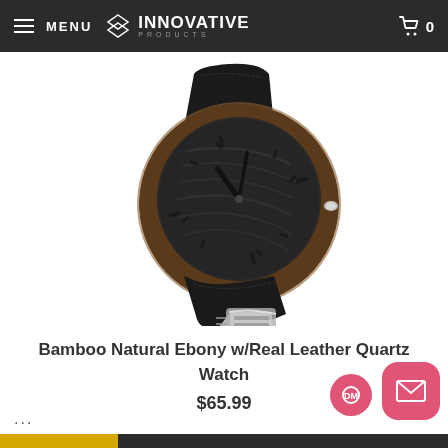MENU | INNOVATIVE PRODUCTS | Cart: 0
[Figure (photo): Bamboo natural ebony wood watch with black real leather strap and quartz movement, displayed on a metal stand against a white background.]
Bamboo Natural Ebony w/Real Leather Quartz Watch
$65.99